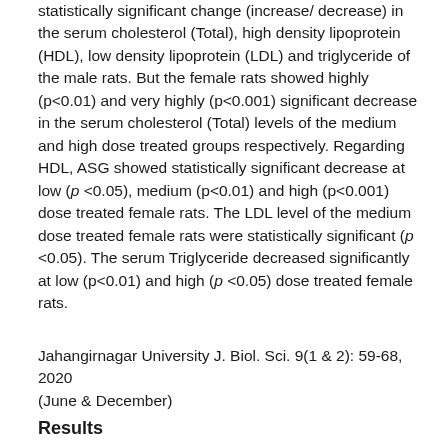statistically significant change (increase/ decrease) in the serum cholesterol (Total), high density lipoprotein (HDL), low density lipoprotein (LDL) and triglyceride of the male rats. But the female rats showed highly (p<0.01) and very highly (p<0.001) significant decrease in the serum cholesterol (Total) levels of the medium and high dose treated groups respectively. Regarding HDL, ASG showed statistically significant decrease at low (p <0.05), medium (p<0.01) and high (p<0.001) dose treated female rats. The LDL level of the medium dose treated female rats were statistically significant (p <0.05). The serum Triglyceride decreased significantly at low (p<0.01) and high (p <0.05) dose treated female rats.
Jahangirnagar University J. Biol. Sci. 9(1 & 2): 59-68, 2020 (June & December)
Results